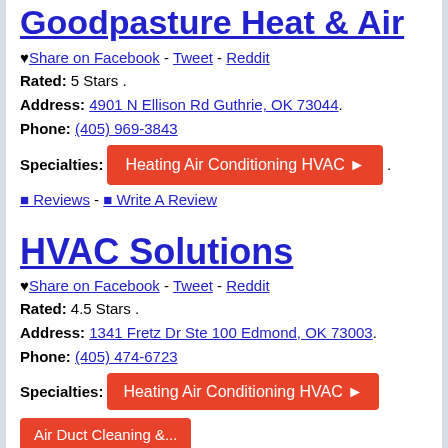Goodpasture Heat & Air
♥ Share on Facebook - Tweet - Reddit
Rated: 5 Stars .
Address: 4901 N Ellison Rd Guthrie, OK 73044.
Phone: (405) 969-3843
Specialties: Heating Air Conditioning HVAC
0 Reviews - 0 Write A Review
HVAC Solutions
♥ Share on Facebook - Tweet - Reddit
Rated: 4.5 Stars .
Address: 1341 Fretz Dr Ste 100 Edmond, OK 73003.
Phone: (405) 474-6723
Specialties: Heating Air Conditioning HVAC
Air Duct Cleaning &...